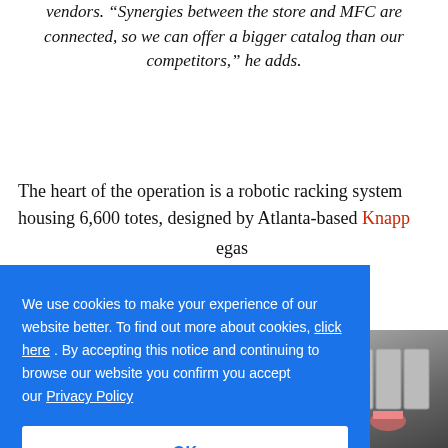vendors. “Synergies between the store and MFC are connected, so we can offer a bigger catalog than our competitors,” he adds.
The heart of the operation is a robotic racking system housing 6,600 totes, designed by Atlanta-based Knapp … egas … quips.
We use cookies to make your experience of our website better. To find out more about cookies, click here . By accepting this notice and continuing to browse our website you confirm you accept our Privacy Policy
OK
[Figure (photo): Photo of warehouse / MFC interior with person working at refrigerated units]
[Figure (photo): Bottom strip photo of conveyor belt system in automated warehouse]